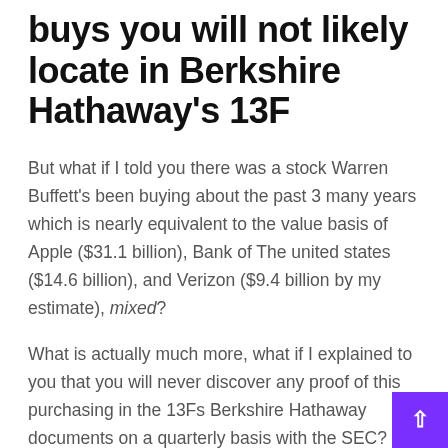buys you will not likely locate in Berkshire Hathaway's 13F
But what if I told you there was a stock Warren Buffett's been buying about the past 3 many years which is nearly equivalent to the value basis of Apple ($31.1 billion), Bank of The united states ($14.6 billion), and Verizon ($9.4 billion by my estimate), mixed?
What is actually much more, what if I explained to you that you will never discover any proof of this purchasing in the 13Fs Berkshire Hathaway documents on a quarterly basis with the SEC?